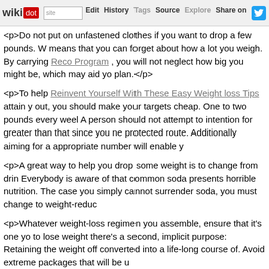wikidot | site | Edit | History | Tags | Source | Explore | Share on Twitter
<p>Do not put on unfastened clothes if you want to drop a few pounds. W means that you can forget about how a lot you weigh. By carrying Reco Program , you will not neglect how big you might be, which may aid yo plan.</p>
<p>To help Reinvent Yourself With These Easy Weight loss Tips attain y out, you should make your targets cheap. One to two pounds every wee A person should not attempt to intention for greater than that since you ne protected route. Additionally aiming for a appropriate number will enable y
<p>A great way to help you drop some weight is to change from drin Everybody is aware of that common soda presents horrible nutrition. The case you simply cannot surrender soda, you must change to weight-reduc
<p>Whatever weight-loss regimen you assemble, ensure that it's one yo to lose weight there's a second, implicit purpose: Retaining the weight off converted into a life-long course of. Avoid extreme packages that will be u
<p>A good tip to drop extra pounds is to outline exactly what you need, a and workout program for you. There are so many various diets and wor troublesome to search out the appropriate one for you.</p>
<p>Use a pedometer for tracking steps when dropping weight. You must after-day. If you realize the variety of steps you're taking, you possibly step, you're moving forward along with your fitness objectives and getting
<p>A very useful device for those who wish to lose weight is a help grou actually available. You probably have determined to make the commitmen internet support group, in addition to, any &quot;stay&quot; weight-loss c